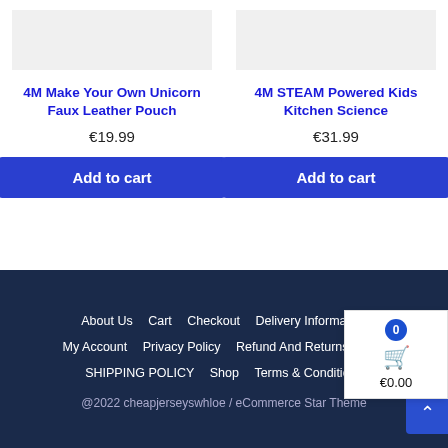4M Make Your Own Unicorn Faux Leather Pouch
€19.99
Add to cart
4M STEAM Powered Kids Kitchen Science
€31.99
Add to cart
About Us  Cart  Checkout  Delivery Information  My Account  Privacy Policy  Refund And Returns Policy  SHIPPING POLICY  Shop  Terms & Conditions
@2022 cheapjerseyswhloe / eCommerce Star Theme